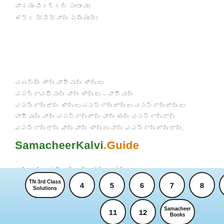Tamil text line 1 (blurred/watermarked)
Tamil text line 2 exclamation
Tamil paragraph block (multiple lines, blurred)
SamacheerKalvi.Guide
Tamil bottom paragraph (3 lines, blurred)
[Figure (infographic): Navigation footer with class buttons: TN 3rd Class Solutions, 4, 5, 6, 7, 8, 9, 10 (row 1), 11, 12, Samacheer Books (row 2) on a light blue gradient background]